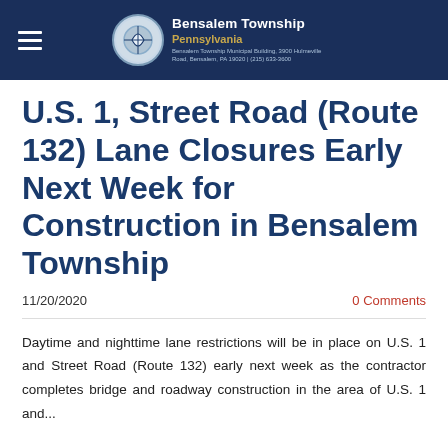Bensalem Township Pennsylvania — Bensalem Township Municipal Building, 3900 Hulmeville Road, Bensalem, PA 19020
U.S. 1, Street Road (Route 132) Lane Closures Early Next Week for Construction in Bensalem Township
11/20/2020   0 Comments
Daytime and nighttime lane restrictions will be in place on U.S. 1 and Street Road (Route 132) early next week as the contractor completes bridge and roadway construction in the area of U.S. 1 and...